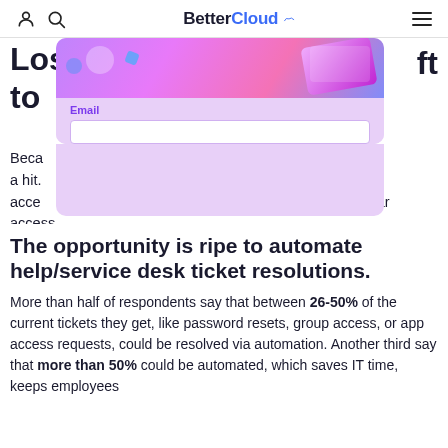BetterCloud
[Figure (illustration): Decorative illustration with tech/laptop imagery on a purple/pink background, partially overlaid with an email signup form]
Because [text obscured by overlay] akes a hit. [text obscured] get access [text obscured] ndar access.
The opportunity is ripe to automate help/service desk ticket resolutions.
More than half of respondents say that between 26-50% of the current tickets they get, like password resets, group access, or app access requests, could be resolved via automation. Another third say that more than 50% could be automated, which saves IT time, keeps employees...